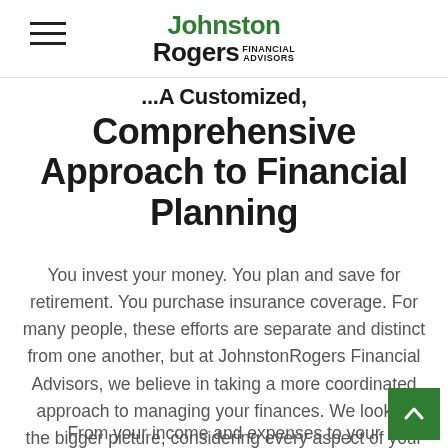Johnston Rogers Financial Advisors
...A Customized, Comprehensive Approach to Financial Planning
You invest your money. You plan and save for retirement. You purchase insurance coverage. For many people, these efforts are separate and distinct from one another, but at JohnstonRogers Financial Advisors, we believe in taking a more coordinated approach to managing your finances. We look at the bigger picture, considering every aspect of your financial situation, and strive to bring all areas into alignment with one another.
From your income and expenses to your